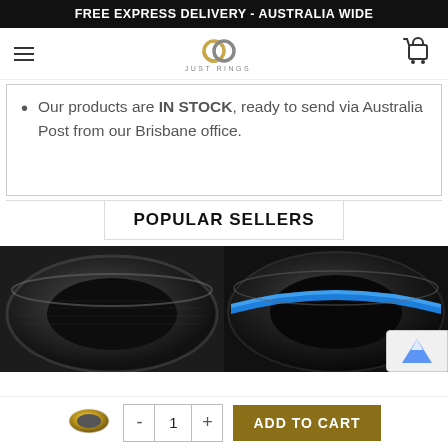FREE EXPRESS DELIVERY - AUSTRALIA WIDE
[Figure (logo): Just Rings logo with two interlinked rings (gold and silver) above the text JUST RINGS]
Our products are IN STOCK, ready to send via Australia Post from our Brisbane office.
POPULAR SELLERS
[Figure (photo): Black tungsten ring with brushed matte finish, shown at an angle on white background]
[Figure (photo): Black tungsten ring with blue groove/stripe detail, shown at an angle]
[Figure (photo): Small thumbnail of gold and silver two-tone ring in add-to-cart bar]